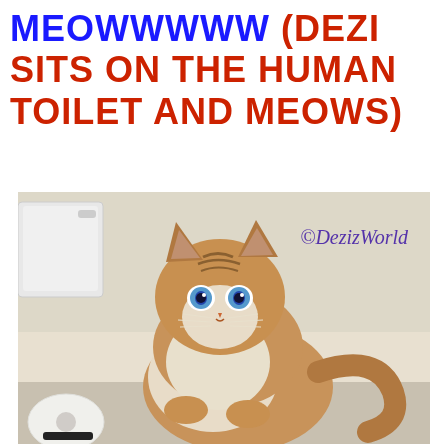MEOWWWWW (DEZI SITS ON THE HUMAN TOILET AND MEOWS)
[Figure (photo): A fluffy cat with blue eyes and orange/cream fur sitting on a human toilet in a bathroom setting. A roll of toilet paper is visible in the lower left. A white toilet tank is visible behind the cat. Watermark reads ©DezizWorld in purple italic script.]